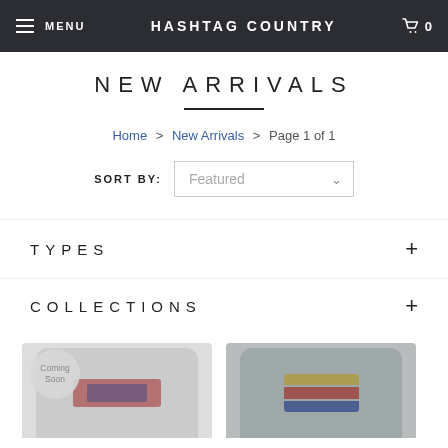MENU  HASHTAG COUNTRY  0
NEW ARRIVALS
Home > New Arrivals > Page 1 of 1
SORT BY: Featured
TYPES +
COLLECTIONS +
[Figure (photo): Two t-shirts displayed, left one with a 'Coming Soon' badge overlay and a faded graphic, right one is a darker grey with a patriotic graphic]
Coming Soon